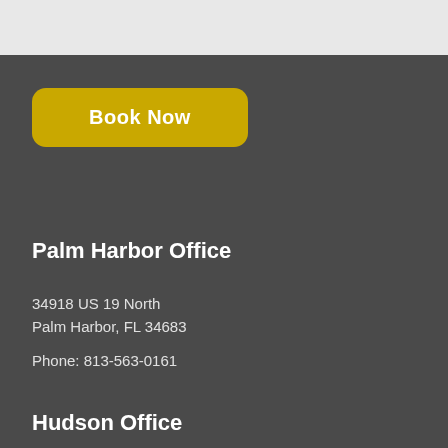[Figure (other): Book Now button with yellow/gold rounded rectangle background]
Palm Harbor Office
34918 US 19 North
Palm Harbor, FL 34683
Phone: 813-563-0161
Hudson Office